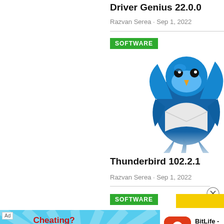Driver Genius 22.0.0
Razvan Serea · Sep 1, 2022
SOFTWARE
[Figure (illustration): Thunderbird email client bird logo — blue bird holding an envelope]
Thunderbird 102.2.1
Razvan Serea · Sep 1, 2022
SOFTWARE
[Figure (infographic): Ad banner for BitLife - Life Simulator app. Blue background with flexing arm emoji illustration, text 'Cheating? Or creative winning?' and BitLife logo. BitLife app icon shown with text 'BitLife - Life Simulator' and an Install button.]
BitLife - Life Simulator
Install!